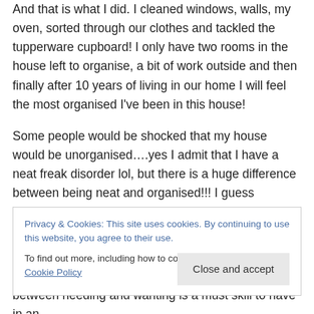And that is what I did. I cleaned windows, walls, my oven, sorted through our clothes and tackled the tupperware cupboard! I only have two rooms in the house left to organise, a bit of work outside and then finally after 10 years of living in our home I will feel the most organised I've been in this house!
Some people would be shocked that my house would be unorganised….yes I admit that I have a neat freak disorder lol, but there is a huge difference between being neat and organised!!! I guess somewhere between moving in all those years ago and having three kids, things built up
Privacy & Cookies: This site uses cookies. By continuing to use this website, you agree to their use. To find out more, including how to control cookies, see here: Cookie Policy
Close and accept
between needing and wanting is a must skill to have in an